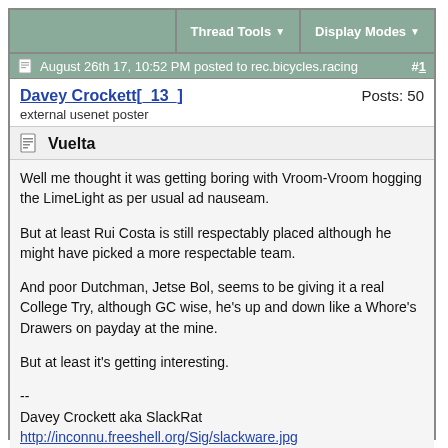Thread Tools  Display Modes
August 26th 17, 10:52 PM posted to rec.bicycles.racing  #1
Davey Crockett[_13_]  Posts: 50
external usenet poster
Vuelta
Well me thought it was getting boring with Vroom-Vroom hogging the LimeLight as per usual ad nauseam.

But at least Rui Costa is still respectably placed although he might have picked a more respectable team.

And poor Dutchman, Jetse Bol, seems to be giving it a real College Try, although GC wise, he's up and down like a Whore's Drawers on payday at the mine.

But at least it's getting interesting.

--
Davey Crockett aka SlackRat
http://inconnu.freeshell.org/Sig/slackware.jpg